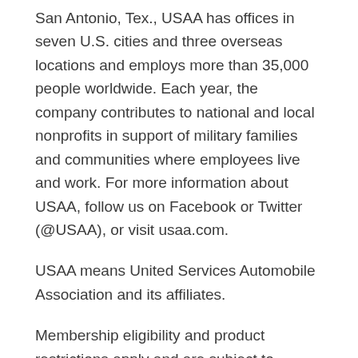San Antonio, Tex., USAA has offices in seven U.S. cities and three overseas locations and employs more than 35,000 people worldwide. Each year, the company contributes to national and local nonprofits in support of military families and communities where employees live and work. For more information about USAA, follow us on Facebook or Twitter (@USAA), or visit usaa.com.
USAA means United Services Automobile Association and its affiliates.
Membership eligibility and product restrictions apply and are subject to change.
Small Business Insurance is underwritten by Garrison